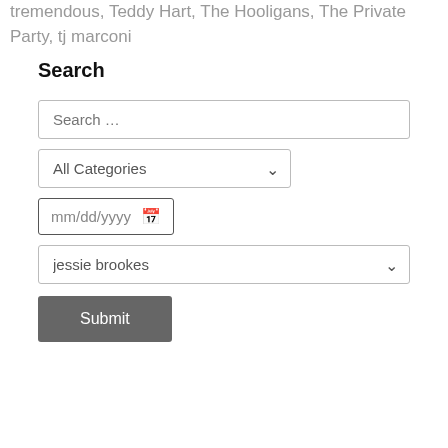tremendous, Teddy Hart, The Hooligans, The Private Party, tj marconi
Search
Search ...
All Categories
mm/dd/yyyy
jessie brookes
Submit